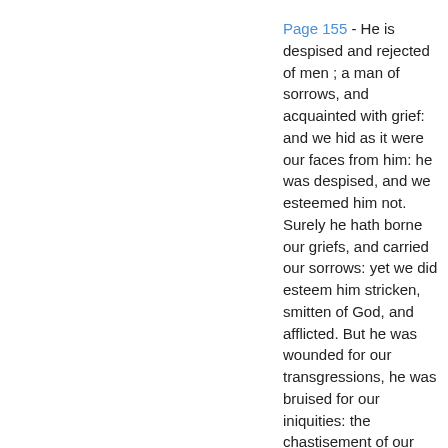Page 155 - He is despised and rejected of men ; a man of sorrows, and acquainted with grief: and we hid as it were our faces from him: he was despised, and we esteemed him not. Surely he hath borne our griefs, and carried our sorrows: yet we did esteem him stricken, smitten of God, and afflicted. But he was wounded for our transgressions, he was bruised for our iniquities: the chastisement of our peace was upon him: and with his stripes we are healed. All we like sheep have gone astray; we have turned every...